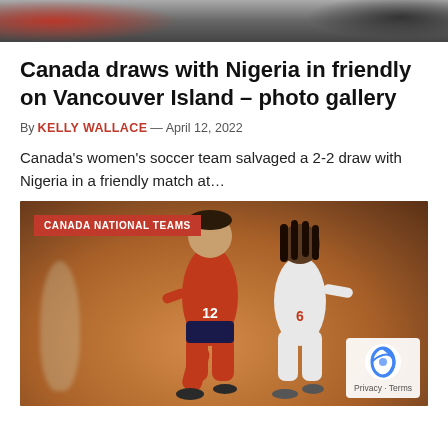[Figure (photo): Top cropped photo of soccer players and spectators in red]
Canada draws with Nigeria in friendly on Vancouver Island – photo gallery
By KELLY WALLACE — April 12, 2022
Canada's women's soccer team salvaged a 2-2 draw with Nigeria in a friendly match at...
[Figure (photo): Soccer match photo: player in red jersey number 12 competing against player in white jersey number 6 on an orange pitch. Category badge reads CANADA NATIONAL TEAMS. Privacy & Terms badge in bottom right corner.]